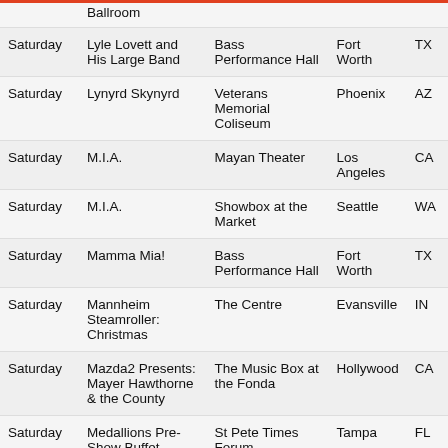| Day | Event | Venue | City | State |
| --- | --- | --- | --- | --- |
|  | Ballroom |  |  |  |
| Saturday | Lyle Lovett and His Large Band | Bass Performance Hall | Fort Worth | TX |
| Saturday | Lynyrd Skynyrd | Veterans Memorial Coliseum | Phoenix | AZ |
| Saturday | M.I.A. | Mayan Theater | Los Angeles | CA |
| Saturday | M.I.A. | Showbox at the Market | Seattle | WA |
| Saturday | Mamma Mia! | Bass Performance Hall | Fort Worth | TX |
| Saturday | Mannheim Steamroller: Christmas | The Centre | Evansville | IN |
| Saturday | Mazda2 Presents: Mayer Hawthorne & the County | The Music Box at the Fonda | Hollywood | CA |
| Saturday | Medallions Pre-Show Buffet Dinner: Trans-Siberian Orchestra | St Pete Times Forum | Tampa | FL |